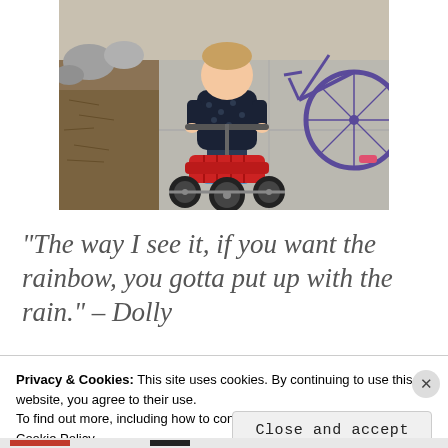[Figure (photo): A toddler riding a red tricycle on a sidewalk, viewed from behind, with a bicycle visible to the right and garden rocks and dry mulch on the left.]
“The way I see it, if you want the rainbow, you gotta put up with the rain.” – Dolly P...
Privacy & Cookies: This site uses cookies. By continuing to use this website, you agree to their use.
To find out more, including how to control cookies, see here:
Cookie Policy